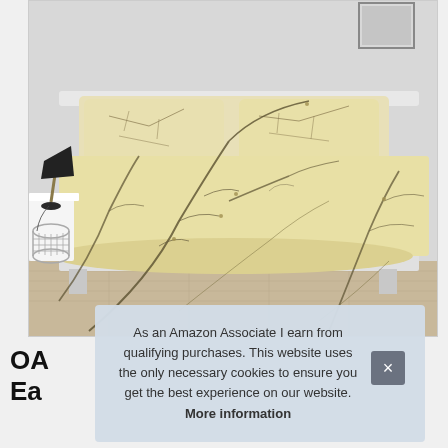[Figure (photo): Bedroom scene with a cream/yellow floral branch-patterned duvet cover and pillow set on a bed, with a gold lamp on a side table and wire basket visible. The bedding has thin brown branch and leaf patterns on a pale yellow background.]
OA
Ea
As an Amazon Associate I earn from qualifying purchases. This website uses the only necessary cookies to ensure you get the best experience on our website. More information